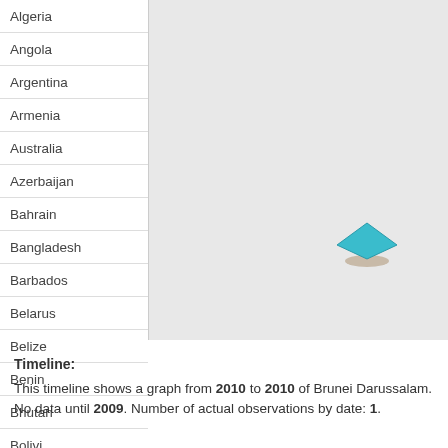Algeria
Angola
Argentina
Armenia
Australia
Azerbaijan
Bahrain
Bangladesh
Barbados
Belarus
Belize
Benin
Bhutan
Bolivi...
[Figure (map): Interactive map showing a single teal diamond marker representing Brunei Darussalam data point on a gray background map area]
Timeline: This timeline shows a graph from 2010 to 2010 of Brunei Darussalam. No data until 2009. Number of actual observations by date: 1.